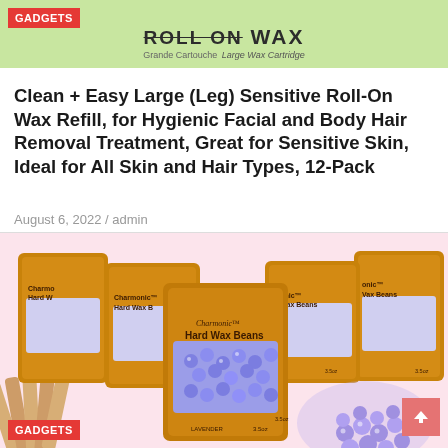[Figure (photo): Top banner with light green background showing 'ROLL ON WAX' text, 'Large Wax Cartridge' subtitle, and 'GADGETS' red badge in top-left corner.]
Clean + Easy Large (Leg) Sensitive Roll-On Wax Refill, for Hygienic Facial and Body Hair Removal Treatment, Great for Sensitive Skin, Ideal for All Skin and Hair Types, 12-Pack
August 6, 2022 / admin
[Figure (photo): Product photo showing multiple gold foil bags of Charmonic Hard Wax Beans in lavender/purple color, 3.5oz each, arranged in an overlapping fan display. Wooden spatulas visible at bottom-left, loose purple wax beads at bottom-right. Pink background.]